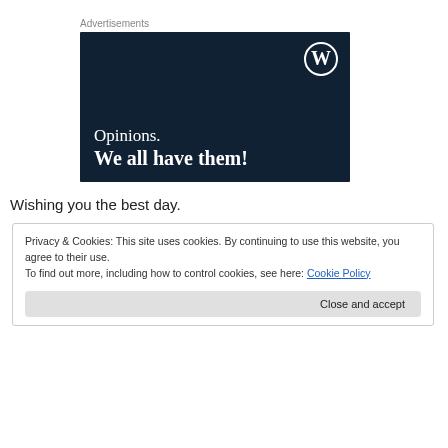Advertisements
[Figure (illustration): WordPress advertisement banner with dark navy background. Shows WordPress logo (W in circle) in top right. Text reads 'Opinions. We all have them!' in white serif font.]
Wishing you the best day.
Privacy & Cookies: This site uses cookies. By continuing to use this website, you agree to their use.
To find out more, including how to control cookies, see here: Cookie Policy
Close and accept